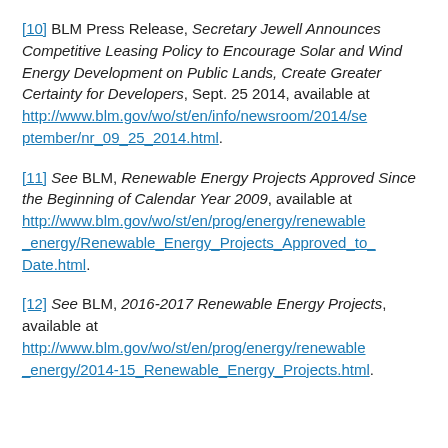[10] BLM Press Release, Secretary Jewell Announces Competitive Leasing Policy to Encourage Solar and Wind Energy Development on Public Lands, Create Greater Certainty for Developers, Sept. 25 2014, available at http://www.blm.gov/wo/st/en/info/newsroom/2014/september/nr_09_25_2014.html.
[11] See BLM, Renewable Energy Projects Approved Since the Beginning of Calendar Year 2009, available at http://www.blm.gov/wo/st/en/prog/energy/renewable_energy/Renewable_Energy_Projects_Approved_to_Date.html.
[12] See BLM, 2016-2017 Renewable Energy Projects, available at http://www.blm.gov/wo/st/en/prog/energy/renewable_energy/2014-15_Renewable_Energy_Projects.html.